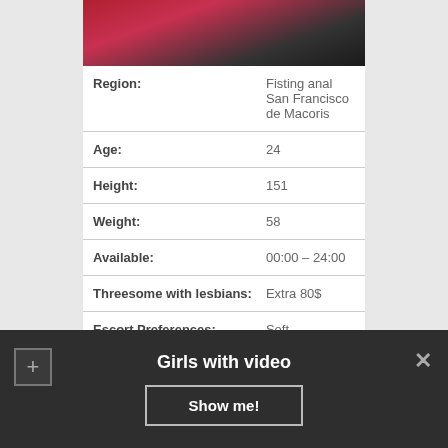[Figure (photo): Partial photo of a woman in a pink/red outfit, cropped at top]
| Region: | Fisting anal San Francisco de Macoris |
| Age: | 24 |
| Height: | 151 |
| Weight: | 58 |
| Available: | 00:00 – 24:00 |
| Threesome with lesbians: | Extra 80$ |
| Escort Preferences: | Soft domination, Fetish, Massage anti-stress |
Girls with video
Show me!